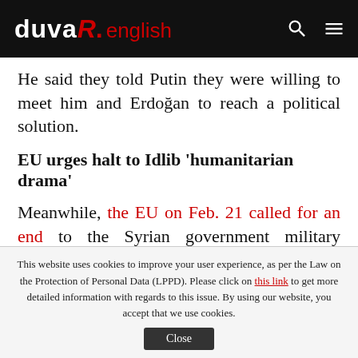duvaR. english
He said they told Putin they were willing to meet him and Erdoğan to reach a political solution.
EU urges halt to Idlib 'humanitarian drama'
Meanwhile, the EU on Feb. 21 called for an end to the Syrian government military offensive in Idlib, warning that a humanitarian disaster was underway.
"The renewed military offensive in Idlib by the
This website uses cookies to improve your user experience, as per the Law on the Protection of Personal Data (LPPD). Please click on this link to get more detailed information with regards to this issue. By using our website, you accept that we use cookies.